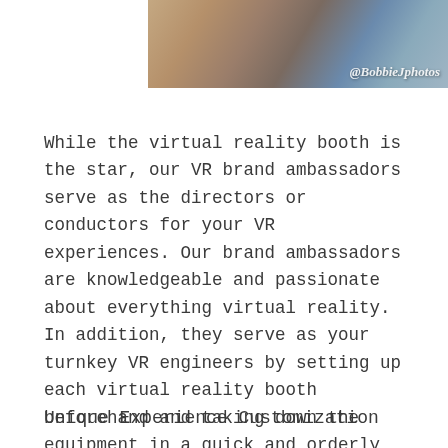[Figure (photo): Close-up photo of hands with a blue wristband, with watermark @BobbieJphotos]
While the virtual reality booth is the star, our VR brand ambassadors serve as the directors or conductors for your VR experiences. Our brand ambassadors are knowledgeable and passionate about everything virtual reality. In addition, they serve as your turnkey VR engineers by setting up each virtual reality booth beforehand and taking down the equipment in a quick and orderly fashion at the end of the event.
Unique Experience Customization